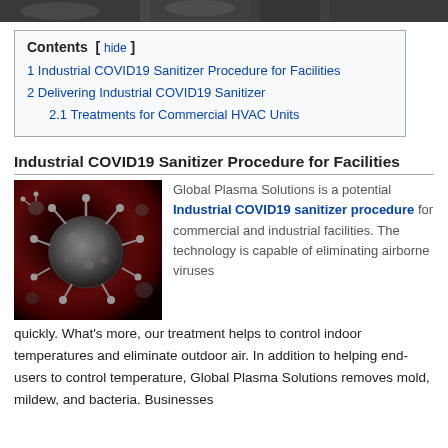[Figure (photo): Dark microscopy image of coronavirus particles at top of page]
| Contents |
| --- |
| 1 Industrial COVID19 Sanitizer Procedure for Facilities |
| 2 Delivering Industrial COVID19 Sanitizer |
| 2.1 Treatments for Commercial HVAC Units |
Industrial COVID19 Sanitizer Procedure for Facilities
[Figure (photo): Close-up electron microscope image of coronavirus particle on dark red background]
Global Plasma Solutions is a potential Industrial COVID19 sanitizer procedure for commercial and industrial facilities. The technology is capable of eliminating airborne viruses quickly. What’s more, our treatment helps to control indoor temperatures and eliminate outdoor air. In addition to helping end-users to control temperature, Global Plasma Solutions removes mold, mildew, and bacteria. Businesses